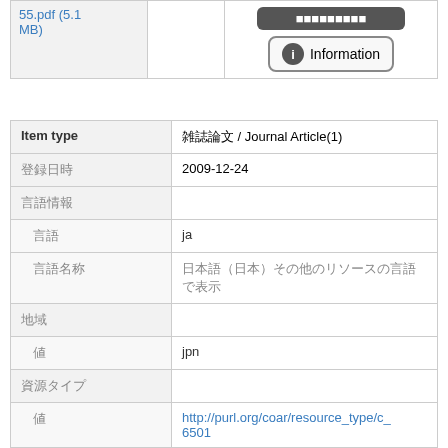| 55.pdf (5.1 MB) |  | Information |
| Item type | 雑誌論文 / Journal Article(1) |
| 登録日時 | 2009-12-24 |
| 言語情報 |  |
| 言語 | ja |
| 言語名称 | 日本語（日本）その他のリソースの言語で表示 |
| 地域 |  |
| 値 | jpn |
| 資源タイプ |  |
| 値 | http://purl.org/coar/resource_type/c_6501 |
| ラベル | journal article |